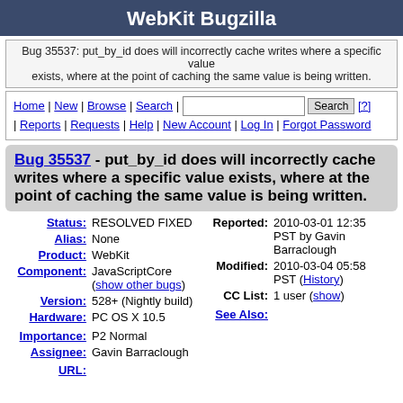WebKit Bugzilla
Bug 35537: put_by_id does will incorrectly cache writes where a specific value exists, where at the point of caching the same value is being written.
Home | New | Browse | Search | [search box] Search [?] | Reports | Requests | Help | New Account | Log In | Forgot Password
Bug 35537 - put_by_id does will incorrectly cache writes where a specific value exists, where at the point of caching the same value is being written.
| Field | Value |
| --- | --- |
| Status: | RESOLVED FIXED |
| Alias: | None |
| Product: | WebKit |
| Component: | JavaScriptCore (show other bugs) |
| Version: | 528+ (Nightly build) |
| Hardware: | PC OS X 10.5 |
| Importance: | P2 Normal |
| Assignee: | Gavin Barraclough |
| URL: |  |
| Reported: | 2010-03-01 12:35 PST by Gavin Barraclough |
| Modified: | 2010-03-04 05:58 PST (History) |
| CC List: | 1 user (show) |
| See Also: |  |